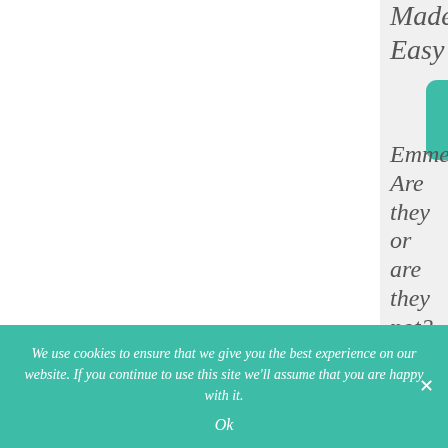Made Easy
Emmenagogues: Are they or are they not?
Depression and Drug
We use cookies to ensure that we give you the best experience on our website. If you continue to use this site we'll assume that you are happy with it. Ok